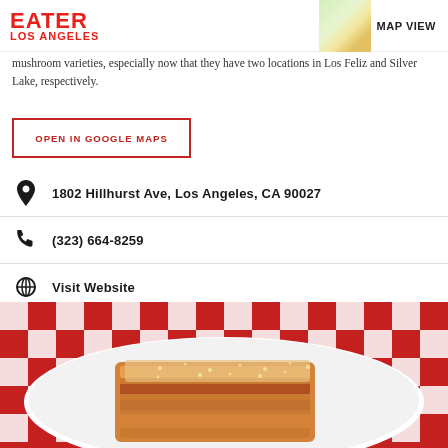EATER LOS ANGELES | MAP VIEW
mushroom varieties, especially now that they have two locations in Los Feliz and Silver Lake, respectively.
OPEN IN GOOGLE MAPS
1802 Hillhurst Ave, Los Angeles, CA 90027
(323) 664-8259
Visit Website
[Figure (photo): Photo of lasagna on a white plate with red and white checkered tablecloth background]